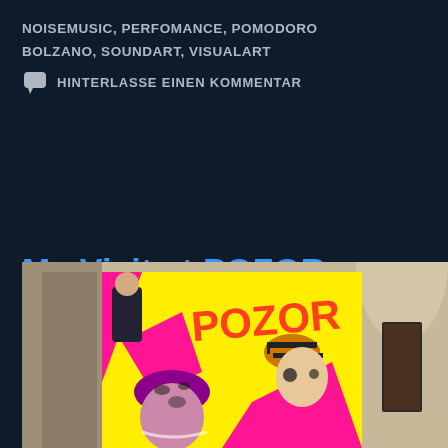NOISEMUSIC, PERFOMANCE, POMODORO BOLZANO, SOUNDART, VISUALART
HINTERLASSE EINEN KOMMENTAR
My Visit at POZOR UTOPIA!
[Figure (photo): Gallery installation showing a large colorful pop-art style painting with text 'POZOR' in pink, yellow and black, featuring stylized figures wearing hats; displayed in a stone-arched gallery space.]